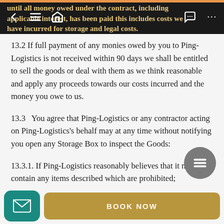until all money owed under the contract, including applicable interest, has been paid this includes costs we have incurred for storage and legal costs.
13.2 If full payment of any monies owed by you to Ping-Logistics is not received within 90 days we shall be entitled to sell the goods or deal with them as we think reasonable and apply any proceeds towards our costs incurred and the money you owe to us.
13.3   You agree that Ping-Logistics or any contractor acting on Ping-Logistics's behalf may at any time without notifying you open any Storage Box to inspect the Goods:
13.3.1. If Ping-Logistics reasonably believes that it may contain any items described which are prohibited;